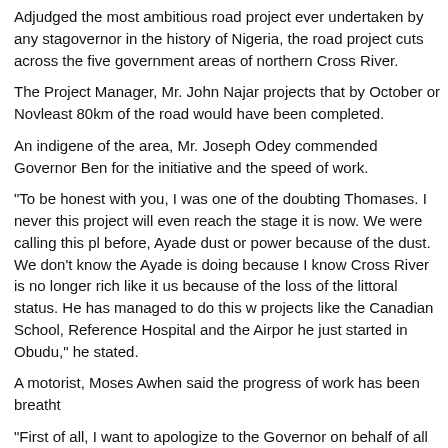Adjudged the most ambitious road project ever undertaken by any state governor in the history of Nigeria, the road project cuts across the five government areas of northern Cross River.
The Project Manager, Mr. John Najar projects that by October or November, at least 80km of the road would have been completed.
An indigene of the area, Mr. Joseph Odey commended Governor Ben for the initiative and the speed of work.
“To be honest with you, I was one of the doubting Thomases. I never thought this project will even reach the stage it is now. We were calling this place before, Ayade dust or power because of the dust. We don’t know the magic Ayade is doing because I know Cross River is no longer rich like it used to be because of the loss of the littoral status. He has managed to do this with other projects like the Canadian School, Reference Hospital and the Airport project he just started in Obudu,” he stated.
A motorist, Moses Awhen said the progress of work has been breatht…
“First of all, I want to apologize to the Governor on behalf of all of us who said one bad thing or the other against him at the commencement of this project. Our Governor is a Professor and we are local drivers that don’t even understand development.